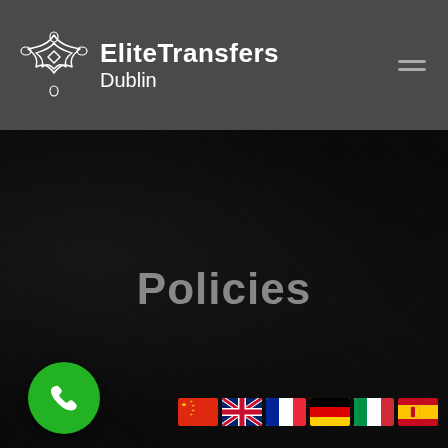[Figure (logo): EliteTransfers Dublin logo with Celtic knot star icon and company name in white text on dark grey header bar]
Policies
[Figure (other): Green circular phone call button icon in bottom left corner]
[Figure (other): Row of 6 country flag icons: China, UK, France, Germany, Italy, Spain]